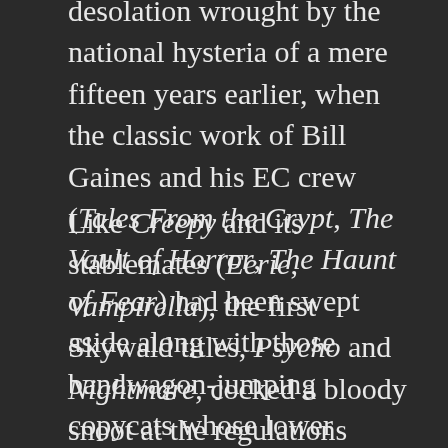desolation wrought by the national hysteria of a mere fifteen years earlier, when the classic work of Bill Gaines and his EC crew (Tales From the Crypt, The Vault of Horror, The Haunt of Fear) had been swept aside along with those bandwagon-jumping copycats whose lower standards had greased the wheels of the McCarthyist panic.
Like Creepy and its stablemates (Eerie, Vampirella), the first Skywald titles, Psycho and Nightmare, cocked a bloody snoot at the regulations imposed by the Comics Code Authority since 1955 and which would effectively hamstring the mainstream industry for the next two decades. The similarity both alarmed and infuriated Warren, who vented his spleen with an ad in the 1972 New York Comic Convention programme booklet, awarding the fictitious Xerox Award to Skywald Publishing, "whose apings of Creepy & Eerie (Psycho & Night-mare) gave no new meanings whatsoever to the